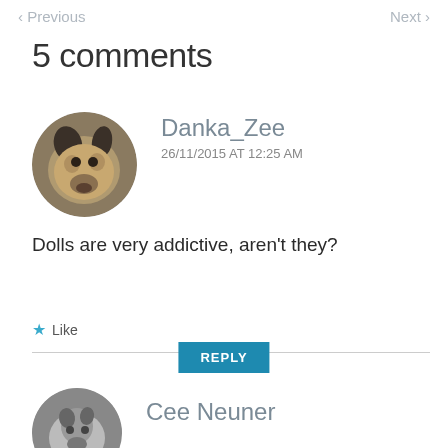< Previous   Next >
5 comments
[Figure (photo): Circular avatar photo of a dog (large fluffy dog, brown and black fur)]
Danka_Zee
26/11/2015 AT 12:25 AM
Dolls are very addictive, aren't they?
Like
REPLY
[Figure (photo): Circular avatar photo of Cee Neuner, grayscale portrait]
Cee Neuner